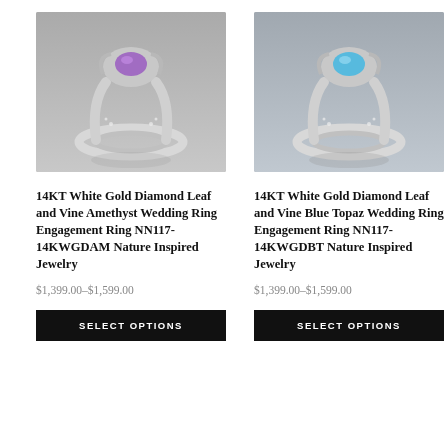[Figure (photo): Product photo of a 14KT White Gold Diamond Leaf and Vine ring with Amethyst (purple) gemstone on a grey background.]
[Figure (photo): Product photo of a 14KT White Gold Diamond Leaf and Vine ring with Blue Topaz (blue) gemstone on a grey background.]
14KT White Gold Diamond Leaf and Vine Amethyst Wedding Ring Engagement Ring NN117-14KWGDAM Nature Inspired Jewelry
14KT White Gold Diamond Leaf and Vine Blue Topaz Wedding Ring Engagement Ring NN117-14KWGDBT Nature Inspired Jewelry
$1,399.00–$1,599.00
$1,399.00–$1,599.00
SELECT OPTIONS
SELECT OPTIONS